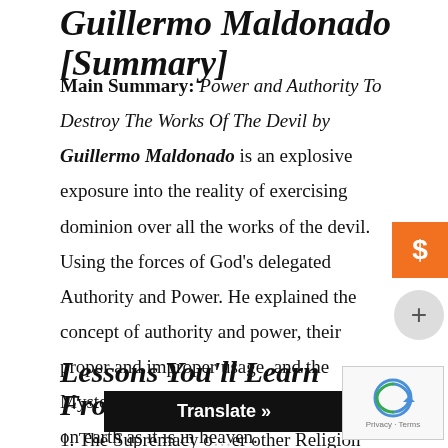Guillermo Maldonado [Summary]
Main Summary: Power and Authority To Destroy The Works Of The Devil by Guillermo Maldonado is an explosive exposure into the reality of exercising dominion over all the works of the devil. Using the forces of God’s delegated Authority and Power. He explained the concept of authority and power, their proper and improper usage, and the Mystery of headship in establishing order on earth as it is in heaven.
Lessons You’ll Learn From This Post
1. The Supremacy of … over other Religion